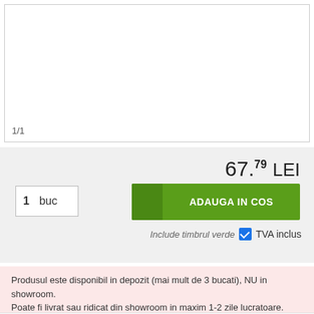[Figure (photo): Product image area with white background and border, showing page indicator 1/1]
1/1
67.79 LEI
1  buc
ADAUGA IN COS
Include timbrul verde  ☑ TVA inclus
Produsul este disponibil in depozit (mai mult de 3 bucati), NU in showroom. Poate fi livrat sau ridicat din showroom in maxim 1-2 zile lucratoare.
Garantie: 24 de luni
Stoc depozit